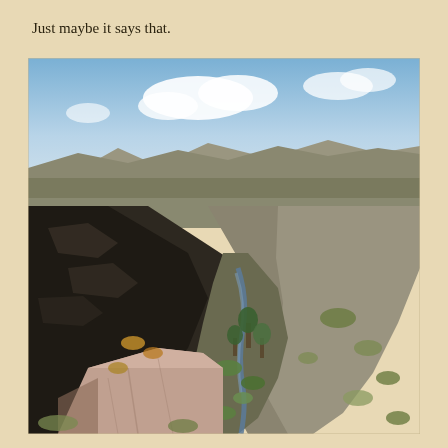Just maybe it says that.
[Figure (photo): Aerial view of a high desert river canyon with rocky lava walls, a small stream winding through the canyon floor flanked by green shrubs and trees, with a vast flat sagebrush plain and distant mountain range visible under a partly cloudy blue sky. A large pale rock formation is prominent in the foreground.]